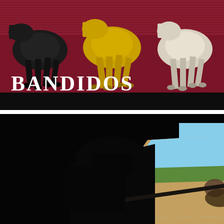[Figure (illustration): Movie poster for 'Bandidos' showing stylized horses running — black, yellow/gold, and white — against a dark red/maroon background with horizontal line shading at top. White bold serif text reads BANDIDOS at the bottom left of the image, with a black bar at the very bottom.]
[Figure (photo): Dark black background with a trapezoidal/tilted projected film frame showing a scene from Bandidos (1967): riders on horseback in a dusty landscape with green hills in the background under a blue sky. The frame appears as a bright inset against the dark surrounding area.]